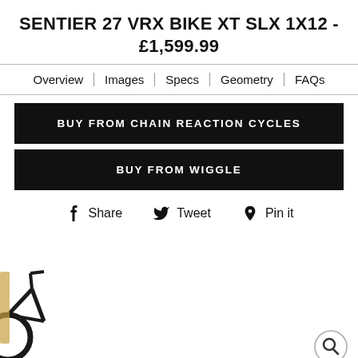SENTIER 27 VRX BIKE XT SLX 1X12 - £1,599.99
Overview | Images | Specs | Geometry | FAQs
BUY FROM CHAIN REACTION CYCLES
BUY FROM WIGGLE
Share  Tweet  Pin it
[Figure (photo): Partial view of a mountain bike on the left edge of the page, partially cropped. A search/magnify circle icon is visible at bottom right.]